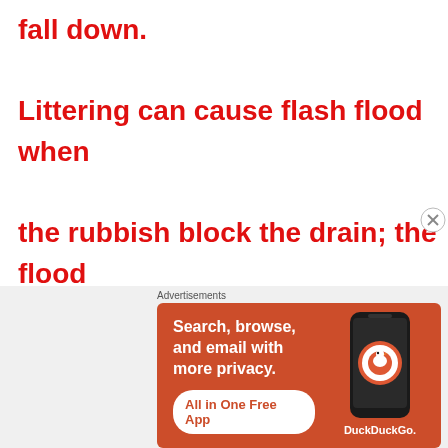fall down. Littering can cause flash flood when the rubbish block the drain; the flood will damaged buildings and plants and caused water pollution and leave
[Figure (other): DuckDuckGo advertisement banner with orange background showing a phone, text 'Search, browse, and email with more privacy.' and button 'All in One Free App']